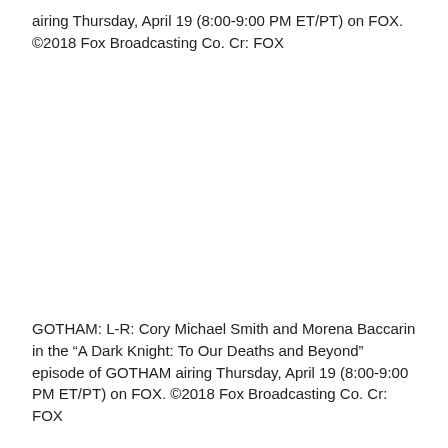airing Thursday, April 19 (8:00-9:00 PM ET/PT) on FOX. ©2018 Fox Broadcasting Co. Cr: FOX
GOTHAM: L-R: Cory Michael Smith and Morena Baccarin in the “A Dark Knight: To Our Deaths and Beyond” episode of GOTHAM airing Thursday, April 19 (8:00-9:00 PM ET/PT) on FOX. ©2018 Fox Broadcasting Co. Cr: FOX